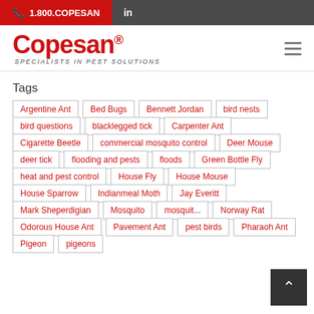1.800.COPESAN | in
[Figure (logo): Copesan logo - red text reading 'Copesan' with registered trademark symbol, subtitle 'SPECIALISTS IN PEST SOLUTIONS']
Tags
Argentine Ant
Bed Bugs
Bennett Jordan
bird nests
bird questions
blacklegged tick
Carpenter Ant
Cigarette Beetle
commercial mosquito control
Deer Mouse
deer tick
flooding and pests
floods
Green Bottle Fly
heat and pest control
House Fly
House Mouse
House Sparrow
Indianmeal Moth
Jay Everitt
Mark Sheperdigian
Mosquito
mosquitoes
Norway Rat
Odorous House Ant
Pavement Ant
pest birds
Pharaoh Ant
Pigeon
pigeons